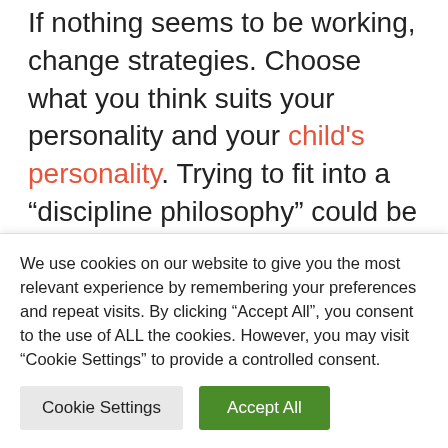If nothing seems to be working, change strategies. Choose what you think suits your personality and your child's personality. Trying to fit into a “discipline philosophy” could be a recipe for disaster.
In other words, it is important to choose an approach that is guided by your own values and your own specific context. Such an
We use cookies on our website to give you the most relevant experience by remembering your preferences and repeat visits. By clicking “Accept All”, you consent to the use of ALL the cookies. However, you may visit “Cookie Settings” to provide a controlled consent.